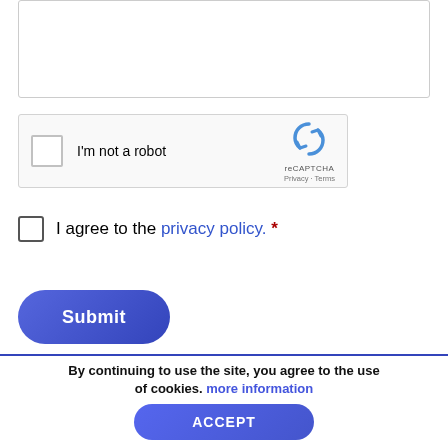[Figure (screenshot): A text input box (form field), empty, with a light gray border]
[Figure (screenshot): reCAPTCHA widget with checkbox labeled 'I'm not a robot' and reCAPTCHA logo with Privacy and Terms links]
I agree to the privacy policy. *
[Figure (screenshot): Blue rounded Submit button]
By continuing to use the site, you agree to the use of cookies. more information
[Figure (screenshot): Blue rounded ACCEPT button]